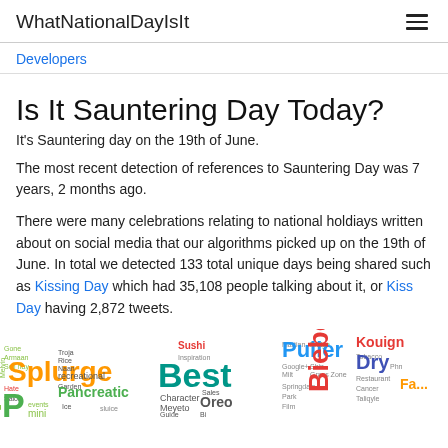WhatNationalDayIsIt
Developers
Is It Sauntering Day Today?
It's Sauntering day on the 19th of June.
The most recent detection of references to Sauntering Day was 7 years, 2 months ago.
There were many celebrations relating to national holdiays written about on social media that our algorithms picked up on the 19th of June. In total we detected 133 total unique days being shared such as Kissing Day which had 35,108 people talking about it, or Kiss Day having 2,872 tweets.
[Figure (infographic): Word cloud showing various national day topics including Splurge, Best, Puller, Kouign, Dry, Pancreatic, Sushi, Oreo, Bieber and many others in multiple colors]